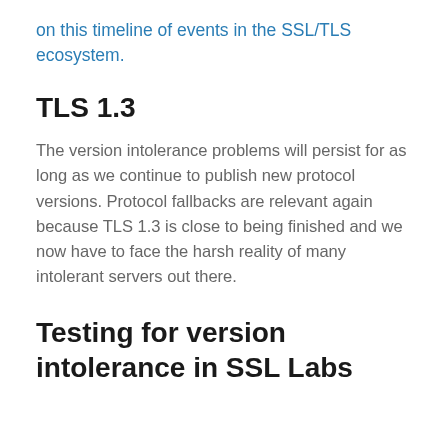on this timeline of events in the SSL/TLS ecosystem.
TLS 1.3
The version intolerance problems will persist for as long as we continue to publish new protocol versions. Protocol fallbacks are relevant again because TLS 1.3 is close to being finished and we now have to face the harsh reality of many intolerant servers out there.
Testing for version intolerance in SSL Labs